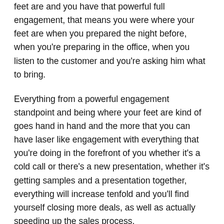feet are and you have that powerful full engagement, that means you were where your feet are when you prepared the night before, when you're preparing in the office, when you listen to the customer and you're asking him what to bring.
Everything from a powerful engagement standpoint and being where your feet are kind of goes hand in hand and the more that you can have laser like engagement with everything that you're doing in the forefront of you whether it's a cold call or there's a new presentation, whether it's getting samples and a presentation together, everything will increase tenfold and you'll find yourself closing more deals, as well as actually speeding up the sales process.
Fred Diamond: What are some of the things that